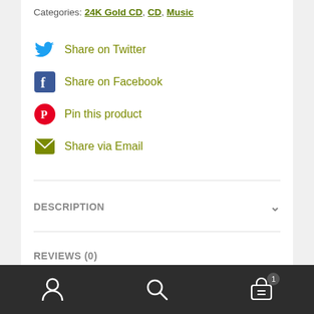Categories: 24K Gold CD, CD, Music
Share on Twitter
Share on Facebook
Pin this product
Share via Email
DESCRIPTION
REVIEWS (0)
Description
user icon | search icon | cart icon with badge 1